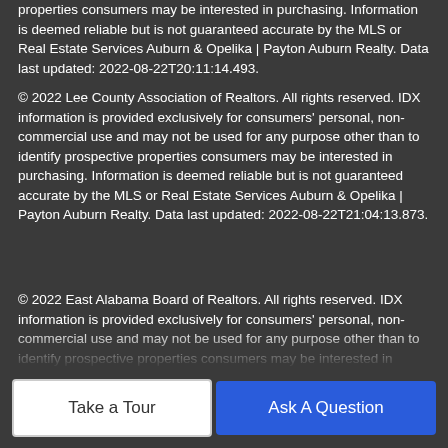properties consumers may be interested in purchasing. Information is deemed reliable but is not guaranteed accurate by the MLS or Real Estate Services Auburn & Opelika | Payton Auburn Realty. Data last updated: 2022-08-22T20:11:14.493.
© 2022 Lee County Association of Realtors. All rights reserved. IDX information is provided exclusively for consumers' personal, non-commercial use and may not be used for any purpose other than to identify prospective properties consumers may be interested in purchasing. Information is deemed reliable but is not guaranteed accurate by the MLS or Real Estate Services Auburn & Opelika | Payton Auburn Realty. Data last updated: 2022-08-22T21:04:13.873.
© 2022 East Alabama Board of Realtors. All rights reserved. IDX information is provided exclusively for consumers' personal, non-commercial use and may not be used for any purpose other than to identify prospective properties consumers may be interested in purchasing. Information is deemed reliable but is not guaranteed